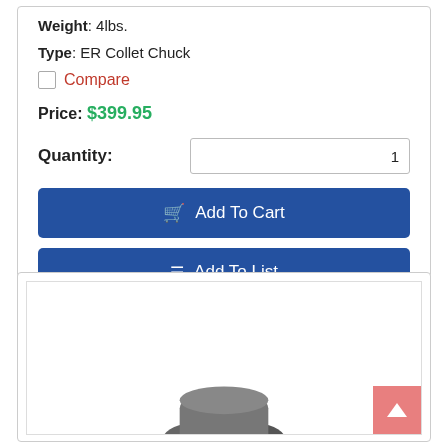Weight: 4lbs.
Type: ER Collet Chuck
Compare
Price: $399.95
Quantity: 1
Add To Cart
Add To List
[Figure (photo): Product image preview of ER Collet Chuck, partially visible at the bottom of the page]